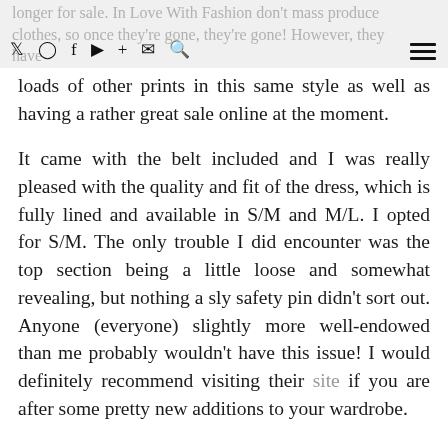longer for sale. In Love With Fashion don't mass produce clothes, so once they're gone, they're gone! However, they have [icons: twitter, instagram, facebook, youtube, plus, email, search] [hamburger menu]
loads of other prints in this same style as well as having a rather great sale online at the moment.
It came with the belt included and I was really pleased with the quality and fit of the dress, which is fully lined and available in S/M and M/L. I opted for S/M. The only trouble I did encounter was the top section being a little loose and somewhat revealing, but nothing a sly safety pin didn't sort out. Anyone (everyone) slightly more well-endowed than me probably wouldn't have this issue! I would definitely recommend visiting their site if you are after some pretty new additions to your wardrobe.
I hope you are all ok and had a good weekend. Today marks the day when I am back as a fully functioning blogger with super speedy internet and everything! I feel like I have been reunited with my right arm again!